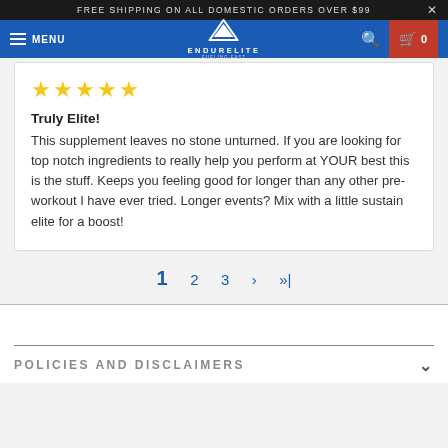FREE SHIPPING ON ALL DOMESTIC ORDERS OVER $99
[Figure (screenshot): EndurElite navigation bar with hamburger menu, logo, search icon, and cart button showing 0 items]
★★★★★
Truly Elite!
This supplement leaves no stone unturned. If you are looking for top notch ingredients to really help you perform at YOUR best this is the stuff. Keeps you feeling good for longer than any other pre-workout I have ever tried. Longer events? Mix with a little sustain elite for a boost!
1  2  3  ›  »
POLICIES AND DISCLAIMERS